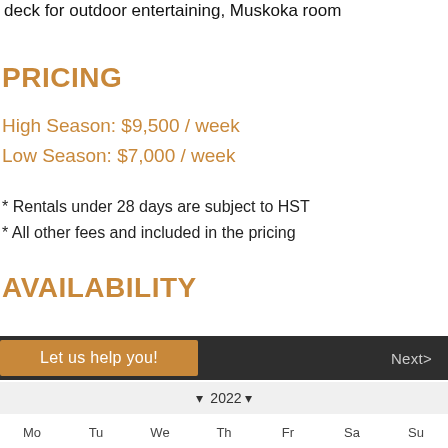deck for outdoor entertaining, Muskoka room
PRICING
High Season: $9,500 / week
Low Season: $7,000 / week
* Rentals under 28 days are subject to HST
* All other fees and included in the pricing
AVAILABILITY
Let us help you!
Next>
2022
Mo   Tu   We   Th   Fr   Sa   Su